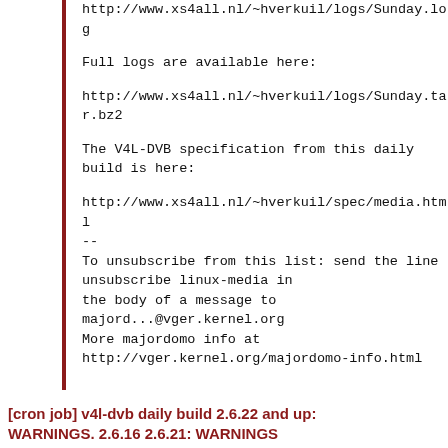http://www.xs4all.nl/~hverkuil/logs/Sunday.log
Full logs are available here:
http://www.xs4all.nl/~hverkuil/logs/Sunday.tar.bz2
The V4L-DVB specification from this daily build is here:
http://www.xs4all.nl/~hverkuil/spec/media.html
--
To unsubscribe from this list: send the line
unsubscribe linux-media in
the body of a message to
majord...@vger.kernel.org
More majordomo info at
http://vger.kernel.org/majordomo-info.html
[cron job] v4l-dvb daily build 2.6.22 and up: WARNINGS. 2.6.16 2.6.21: WARNINGS